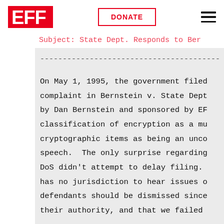EFF | DONATE | menu
Subject: State Dept. Responds to Ber
----------------------------------------
On May 1, 1995, the government filed complaint in Bernstein v. State Dept by Dan Bernstein and sponsored by EF classification of encryption as a mu cryptographic items as being an unco speech.  The only surprise regarding DoS didn't attempt to delay filing. has no jurisdiction to hear issues o defendants should be dismissed since their authority, and that we failed